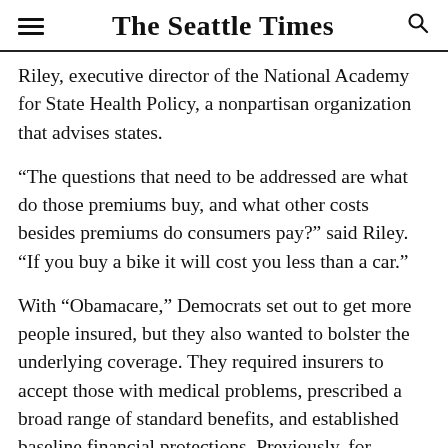The Seattle Times
Riley, executive director of the National Academy for State Health Policy, a nonpartisan organization that advises states.
“The questions that need to be addressed are what do those premiums buy, and what other costs besides premiums do consumers pay?” said Riley. “If you buy a bike it will cost you less than a car.”
With “Obamacare,” Democrats set out to get more people insured, but they also wanted to bolster the underlying coverage. They required insurers to accept those with medical problems, prescribed a broad range of standard benefits, and established baseline financial protections. Previously, for example, people with a history of cancer could be